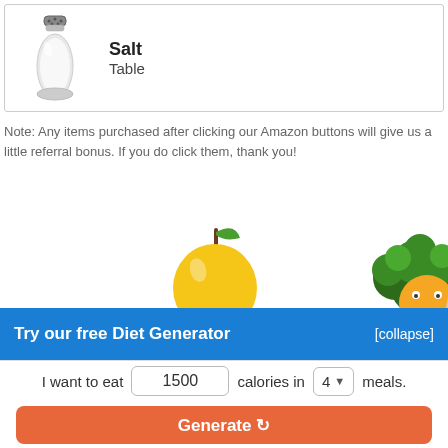[Figure (illustration): Salt shaker with bold text 'Salt' and label 'Table' in a bordered card]
Note: Any items purchased after clicking our Amazon buttons will give us a little referral bonus. If you do click them, thank you!
[Figure (illustration): Decorative food illustrations: apple (yellow with green leaf) and broccoli with smiling orange character]
Try our free Diet Generator
[collapse]
I want to eat 1500 calories in 4 meals.
Generate